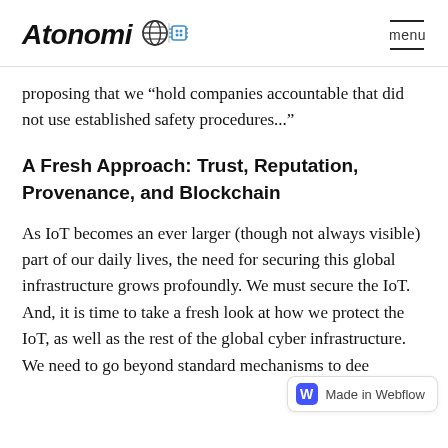Atonomi [globe icon] menu
proposing that we “hold companies accountable that did not use established safety procedures...”
A Fresh Approach: Trust, Reputation, Provenance, and Blockchain
As IoT becomes an ever larger (though not always visible) part of our daily lives, the need for securing this global infrastructure grows profoundly. We must secure the IoT. And, it is time to take a fresh look at how we protect the IoT, as well as the rest of the global cyber infrastructure. We need to go beyond standard mechanisms to dee... the role of trust, reputation, and...